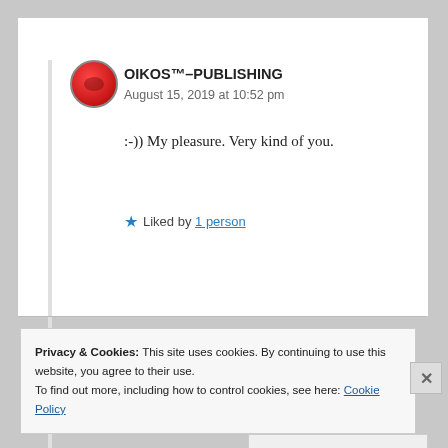OIKOS™–PUBLISHING
August 15, 2019 at 10:52 pm
:-)) My pleasure. Very kind of you.
★ Liked by 1 person
Privacy & Cookies: This site uses cookies. By continuing to use this website, you agree to their use.
To find out more, including how to control cookies, see here: Cookie Policy
Close and accept